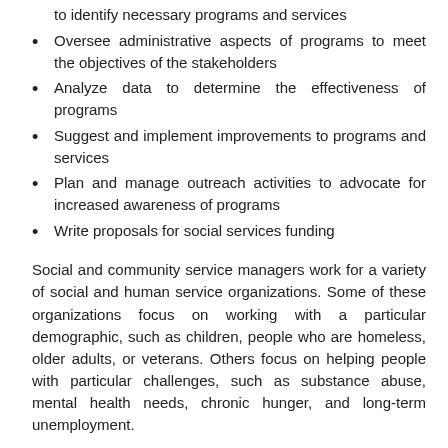to identify necessary programs and services
Oversee administrative aspects of programs to meet the objectives of the stakeholders
Analyze data to determine the effectiveness of programs
Suggest and implement improvements to programs and services
Plan and manage outreach activities to advocate for increased awareness of programs
Write proposals for social services funding
Social and community service managers work for a variety of social and human service organizations. Some of these organizations focus on working with a particular demographic, such as children, people who are homeless, older adults, or veterans. Others focus on helping people with particular challenges, such as substance abuse, mental health needs, chronic hunger, and long-term unemployment.
Social and community service managers are often expected to show that their programs and services are effective. They collect statistics and other information to evaluate the impact their programs have on the community or their target audience. They are usually required to report this information to administrators or funders. They may also use evaluations to identify